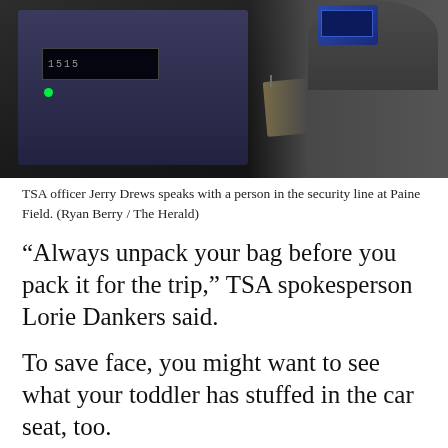[Figure (photo): TSA officer Jerry Drews speaks with a person in the security line at Paine Field. Dark background with electronic equipment visible.]
TSA officer Jerry Drews speaks with a person in the security line at Paine Field. (Ryan Berry / The Herald)
“Always unpack your bag before you pack it for the trip,” TSA spokesperson Lorie Dankers said.
To save face, you might want to see what your toddler has stuffed in the car seat, too.
At AskTSA on Twitter and Facebook, you can send a photo of an item in question, or ask what to do if you lose your ID or leave your computer at the checkpoint. The TSA website has a handy-dandy “What can I bring?” search option.
In the last month, items collected at the Everett’s